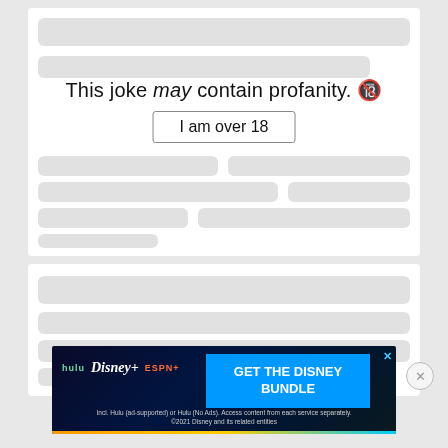This joke may contain profanity. 🔞
I am over 18
[Figure (screenshot): A webpage UI showing a blurred joke card with age gate: text 'This joke may contain profanity.' with italic 'may', and a button 'I am over 18'. Below is another blurred content card with a close button. At the bottom is a Disney Bundle advertisement banner showing Hulu, Disney+, and ESPN+ logos with 'GET THE DISNEY BUNDLE' CTA.]
Incl. Hulu (ad-supported) or Hulu (No Ads). Access content from each service separately. ©2021 Disney and its related entities